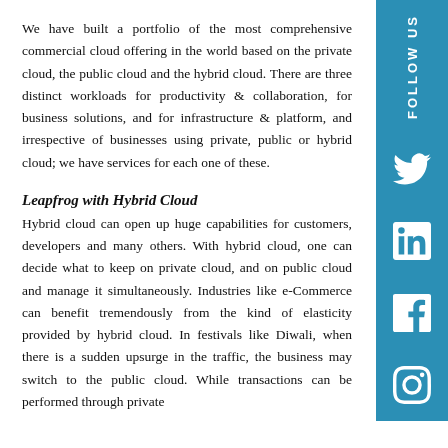We have built a portfolio of the most comprehensive commercial cloud offering in the world based on the private cloud, the public cloud and the hybrid cloud. There are three distinct workloads for productivity & collaboration, for business solutions, and for infrastructure & platform, and irrespective of businesses using private, public or hybrid cloud; we have services for each one of these.
Leapfrog with Hybrid Cloud
Hybrid cloud can open up huge capabilities for customers, developers and many others. With hybrid cloud, one can decide what to keep on private cloud, and on public cloud and manage it simultaneously. Industries like e-Commerce can benefit tremendously from the kind of elasticity provided by hybrid cloud. In festivals like Diwali, when there is a sudden upsurge in the traffic, the business may switch to the public cloud. While transactions can be performed through private cloud, security features can be better handled and